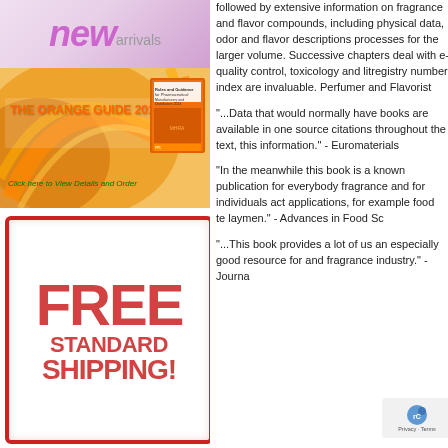[Figure (illustration): New Arrivals banner with pink/purple gradient and large italic 'new' text with 'arrivals' beside it]
[Figure (illustration): The Orange Guide 2014 advertisement banner with orange swirl design and book cover image, with text 'Click here to View Details and Order']
[Figure (illustration): Free Standard Shipping stamp graphic with bold red text in bordered rectangle]
followed by extensive information on fragrance and flavor compounds, including physical data, odor and flavor descriptions... processes for the larger volume... Successive chapters deal with e... quality control, toxicology and lit... registry number index are invaluable... Perfumer and Flavorist
"...Data that would normally have... books are available in one source... citations throughout the text, this... information." - Euromaterials
"In the meanwhile this book is a... known publication for everybody... fragrance and for individuals act... applications, for example food te... laymen." - Advances in Food Sc...
"...This book provides a lot of us... an especially good resource for ... and fragrance industry." - Journa...